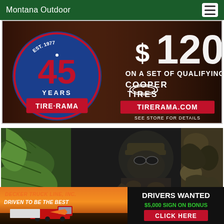Montana Outdoor
[Figure (photo): Tire-Rama advertisement: 45 Years Est. 1977 badge on left, text '$120 on a set of qualifying Cooper Tires', TIRERAMA.COM, See Store For Details on dark reddish-brown background]
[Figure (photo): Hunter in full camouflage gear with face mask and cap, surrounded by pine branches and camo background]
[Figure (photo): Decker Truck Line Inc. advertisement: orange/yellow sunset background with red truck, text 'Decker Truck Line Inc. Driven to be the Best', right side dark background with 'Drivers Wanted', '$5,000 Sign On Bonus', 'Click Here' red button]